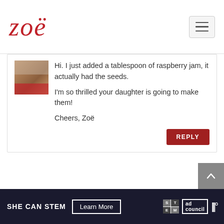[Figure (logo): Zoë blog logo in red italic script font]
Hi. I just added a tablespoon of raspberry jam, it actually had the seeds.

I'm so thrilled your daughter is going to make them!

Cheers, Zoë
REPLY
ALLISON HART
March 23, 2018 at 6:30 pm
What type of flavor extracts do you use
[Figure (infographic): SHE CAN STEM advertisement banner with Learn More button, STEM logo, Ad Council logo, and weather icon]